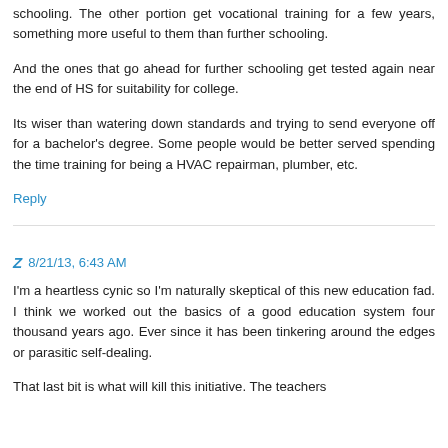schooling. The other portion get vocational training for a few years, something more useful to them than further schooling.
And the ones that go ahead for further schooling get tested again near the end of HS for suitability for college.
Its wiser than watering down standards and trying to send everyone off for a bachelor's degree. Some people would be better served spending the time training for being a HVAC repairman, plumber, etc.
Reply
Z 8/21/13, 6:43 AM
I'm a heartless cynic so I'm naturally skeptical of this new education fad. I think we worked out the basics of a good education system four thousand years ago. Ever since it has been tinkering around the edges or parasitic self-dealing.
That last bit is what will kill this initiative. The teachers...